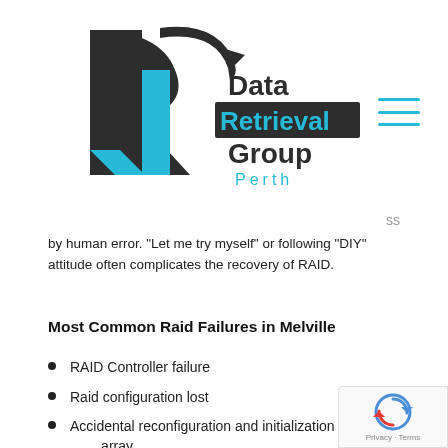[Figure (logo): Data Retrieval Group Perth logo — dark charcoal stylized R shape with cyan/blue accent and text 'Data Retrieval Group Perth']
by human error. “Let me try myself” or following “DIY” attitude often complicates the recovery of RAID.
Most Common Raid Failures in Melville
RAID Controller failure
Raid configuration lost
Accidental reconfiguration and initialization of RAID array
Multiple drives failure